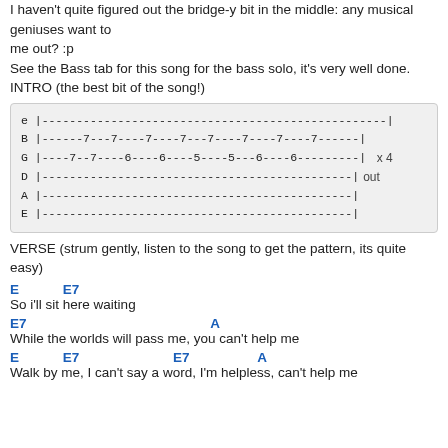I haven't quite figured out the bridge-y bit in the middle: any musical geniuses want to
me out? :p
See the Bass tab for this song for the bass solo, it's very well done.
INTRO (the best bit of the song!)
[Figure (other): Guitar tablature box showing intro tab: e|---|, B|-----7---7----7----7---7----7----7----7-----|, G|----7--7----6----6----5----5---6----6---------|  x 4, D|---------------------------------------------|out, A|---------------------------------------------|, E|---------------------------------------------|]
VERSE (strum gently, listen to the song to get the pattern, its quite easy)
E         E7
So i'll sit here waiting
E7                               A
While the worlds will pass me, you can't help me
E           E7                  E7             A
Walk by me, I can't say a word, I'm helpless, can't help me